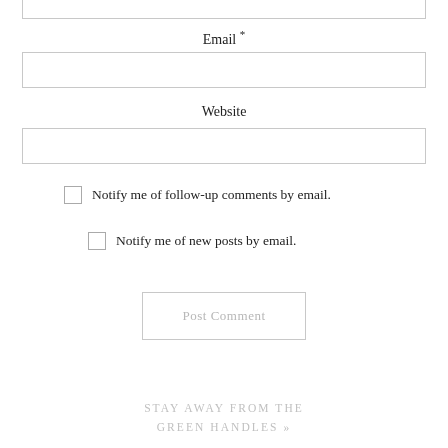Email *
Website
Notify me of follow-up comments by email.
Notify me of new posts by email.
Post Comment
STAY AWAY FROM THE GREEN HANDLES »